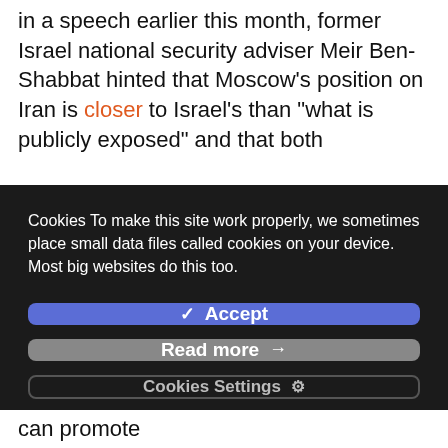in a speech earlier this month, former Israel national security adviser Meir Ben-Shabbat hinted that Moscow's position on Iran is closer to Israel's than "what is publicly exposed" and that both
Cookies To make this site work properly, we sometimes place small data files called cookies on your device. Most big websites do this too.
✓ Accept
Read more →
Cookies Settings ⚙
can promote